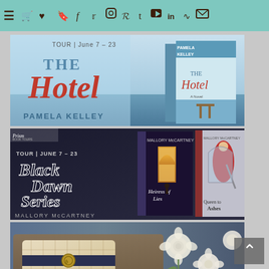[Figure (screenshot): Website navigation bar with teal/mint green background containing hamburger menu icon and multiple social/navigation icons (cart, heart, bookmark, Facebook, Twitter, Instagram, Pinterest, Tumblr, YouTube, LinkedIn, RSS, email)]
[Figure (photo): Book tour banner for 'The Hotel' by Pamela Kelley - Tour June 7-23, showing book cover with ocean/beach scene and 3D book mockup]
[Figure (photo): Book tour banner for 'Black Dawn Series' by Mallory McCartney - Tour June 7-23, showing two fantasy book covers (Heiress of Lies and Queen to Ashes)]
[Figure (photo): Lifestyle photo showing a beige/tan quilted wallet/clutch purse with gold hardware on a wooden tray, with white roses and coffee cup visible]